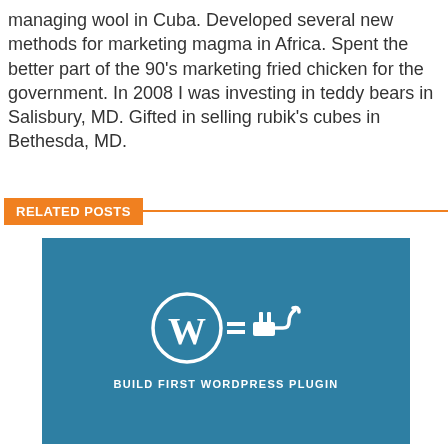managing wool in Cuba. Developed several new methods for marketing magma in Africa. Spent the better part of the 90's marketing fried chicken for the government. In 2008 I was investing in teddy bears in Salisbury, MD. Gifted in selling rubik's cubes in Bethesda, MD.
RELATED POSTS
[Figure (illustration): Blue banner image with WordPress logo (W in circle) connected to an electrical plug icon, with text 'BUILD FIRST WORDPRESS PLUGIN' below]